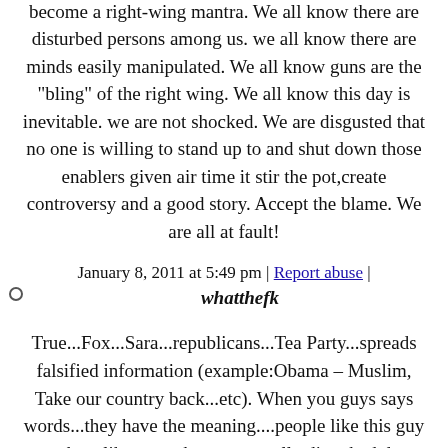legitimate is irrelevant. "Taking someone out" has become a right-wing mantra. We all know there are disturbed persons among us. we all know there are minds easily manipulated. We all know guns are the "bling" of the right wing. We all know this day is inevitable. we are not shocked. We are disgusted that no one is willing to stand up to and shut down those enablers given air time it stir the pot,create controversy and a good story. Accept the blame. We are all at fault!
January 8, 2011 at 5:49 pm | Report abuse |
whatthefk
True...Fox...Sara...republicans...Tea Party...spreads falsified information (example:Obama – Muslim, Take our country back...etc). When you guys says words...they have the meaning....people like this guy or others like you who are mentally disturbed does thease things....STOP IT ...if you belive in God....
January 8, 2011 at 5:50 pm | Report abuse |
Terry
Funny, the Uni-Bomber was working from Al Gore's manifesto that has been proven to be wildly falsified